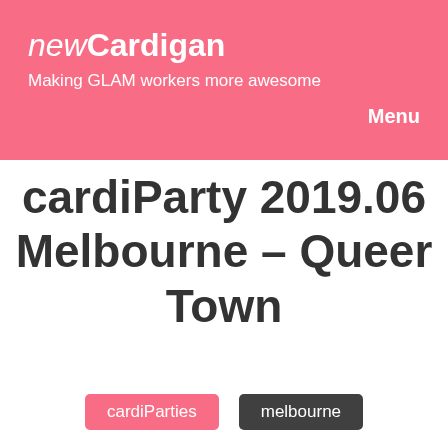newCardigan – Making GLAM workers more awesome
Menu
cardiParty 2019.06 Melbourne – Queer Town
cardiParties
melbourne